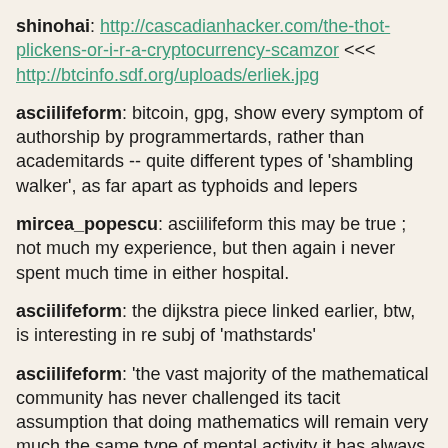shinohai: http://cascadianhacker.com/the-thot-plickens-or-i-r-a-cryptocurrency-scamzor <<< http://btcinfo.sdf.org/uploads/erliek.jpg
asciilifeform: bitcoin, gpg, show every symptom of authorship by programmertards, rather than academitards -- quite different types of 'shambling walker', as far apart as typhoids and lepers
mircea_popescu: asciilifeform this may be true ; not much my experience, but then again i never spent much time in either hospital.
asciilifeform: the dijkstra piece linked earlier, btw, is interesting in re subj of 'mathstards'
asciilifeform: 'the vast majority of the mathematical community has never challenged its tacit assumption that doing mathematics will remain very much the same type of mental activity it has always been: new topics will come, flourish, and go as they have done in the past, but, the human brain being what it is, our ways of teaching, learning, and understanding mathematics, of problem solving and of mathematical challenge will remain att